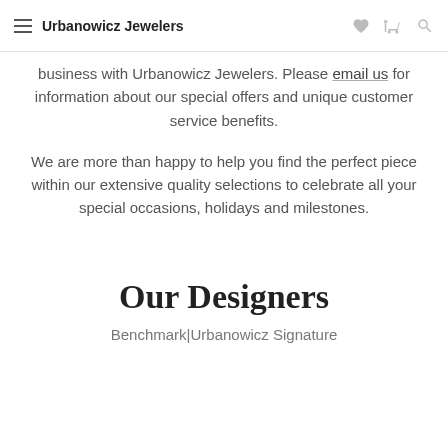Urbanowicz Jewelers
business with Urbanowicz Jewelers. Please email us for information about our special offers and unique customer service benefits.
We are more than happy to help you find the perfect piece within our extensive quality selections to celebrate all your special occasions, holidays and milestones.
Our Designers
Benchmark|Urbanowicz Signature